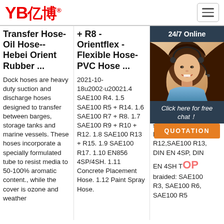[Figure (logo): YB亿博 red logo with registered trademark symbol]
[Figure (other): Hamburger menu button (three horizontal lines in a bordered box)]
Transfer Hose- Oil Hose-- Hebei Orient Rubber ...
Dock hoses are heavy duty suction and discharge hoses designed to transfer between barges, storage tanks and marine vessels. These hoses incorporate a specially formulated tube to resist media to 50-100% aromatic content., while the cover is ozone and weather
+ R8 - Orientflex - Flexible Hose- PVC Hose ...
2021-10-18u2002·u20021.4 SAE100 R4. 1.5 SAE100 R5 + R14. 1.6 SAE100 R7 + R8. 1.7 SAE100 R9 + R10 + R12. 1.8 SAE100 R13 + R15. 1.9 SAE100 R17. 1.10 EN856 4SP/4SH. 1.11 Concrete Placement Hose. 1.12 Paint Spray Hose.
Thermoplastic Hy... SA... Ho...
... Win... SAE... EN R2A... SAE... SAE... spi... R9,SAE100 R12,SAE100 R13, DIN EN 4SP, DIN EN 4SH T... braided: SAE100 R3, SAE100 R6, SAE100 R5
[Figure (photo): Chat widget showing '24/7 Online' dark bar, photo of smiling female customer service agent with headset, 'Click here for free chat!' text, and orange QUOTATION button on dark background]